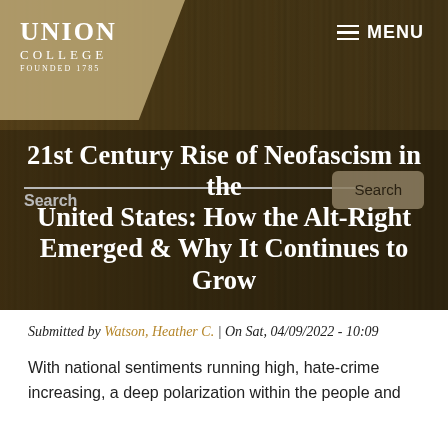[Figure (photo): Library bookshelf background photo with warm amber/brown tones, rows of books visible]
UNION COLLEGE FOUNDED 1795 | MENU
21st Century Rise of Neofascism in the United States: How the Alt-Right Emerged & Why It Continues to Grow
Submitted by Watson, Heather C. | On Sat, 04/09/2022 - 10:09
With national sentiments running high, hate-crime increasing, a deep polarization within the people and